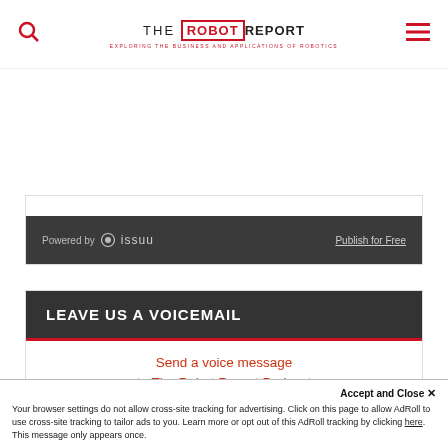THE ROBOTREPORT - EXPLORING THE BUSINESS AND APPLICATIONS OF ROBOTICS
[Figure (screenshot): Issuu embed bar with 'Powered by issuu' on left and 'Publish for Free' link on right, dark background]
LEAVE US A VOICEMAIL
Send a voice message to The Robot Report Podcast
Is your microphone ready?
Accept and Close ✕ Your browser settings do not allow cross-site tracking for advertising. Click on this page to allow AdRoll to use cross-site tracking to tailor ads to you. Learn more or opt out of this AdRoll tracking by clicking here. This message only appears once.